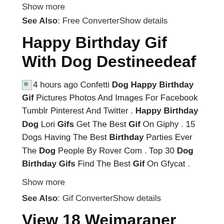Show more
See Also: Free ConverterShow details
Happy Birthday Gif With Dog Destineedeaf
4 hours ago Confetti Dog Happy Birthday Gif Pictures Photos And Images For Facebook Tumblr Pinterest And Twitter . Happy Birthday Dog Lori Gifs Get The Best Gif On Giphy . 15 Dogs Having The Best Birthday Parties Ever The Dog People By Rover Com . Top 30 Dog Birthday Gifs Find The Best Gif On Gfycat .
Show more
See Also: Gif ConverterShow details
View 18 Weimaraner Birthday Gif